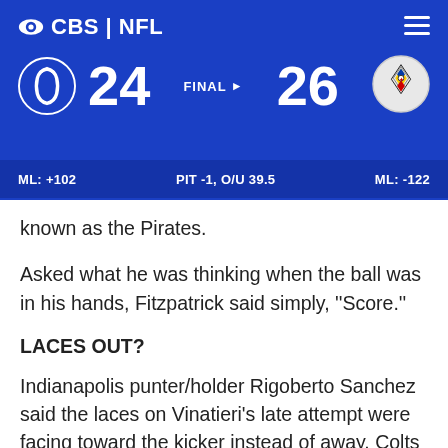CBS | NFL
[Figure (infographic): NFL scoreboard showing Indianapolis Colts 24 vs Pittsburgh Steelers 26, FINAL. ML: +102, PIT -1, O/U 39.5, ML: -122]
known as the Pirates.
Asked what he was thinking when the ball was in his hands, Fitzpatrick said simply, ''Score.''
LACES OUT?
Indianapolis punter/holder Rigoberto Sanchez said the laces on Vinatieri's late attempt were facing toward the kicker instead of away. Colts head coach Frank Reich stressed he still has ''all the confidence in the world in Adam'' and said the